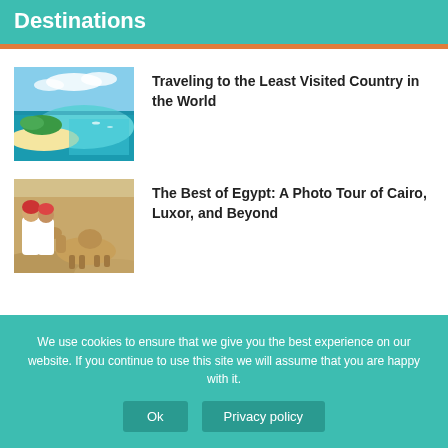Destinations
[Figure (photo): Aerial view of a tropical island with turquoise water and sandy beach]
Traveling to the Least Visited Country in the World
[Figure (photo): Two people in white robes with camels in an Egyptian desert setting]
The Best of Egypt: A Photo Tour of Cairo, Luxor, and Beyond
We use cookies to ensure that we give you the best experience on our website. If you continue to use this site we will assume that you are happy with it.
Ok
Privacy policy